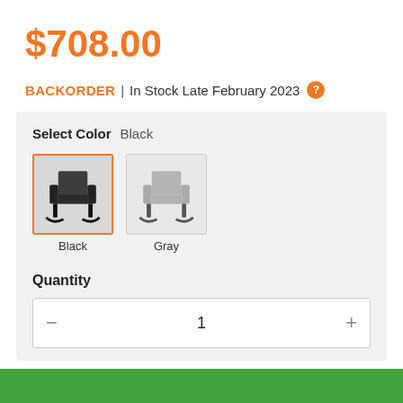$708.00
BACKORDER | In Stock Late February 2023
Select Color  Black
[Figure (photo): Black rocking chair product image, selected with orange border]
[Figure (photo): Gray rocking chair product image, unselected]
Black
Gray
Quantity
1